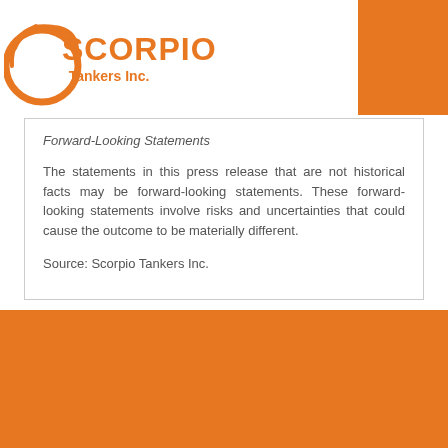[Figure (logo): Scorpio Tankers Inc. logo with orange scorpion/swoosh graphic and orange text]
Forward-Looking Statements
The statements in this press release that are not historical facts may be forward-looking statements. These forward-looking statements involve risks and uncertainties that could cause the outcome to be materially different.
Source: Scorpio Tankers Inc.